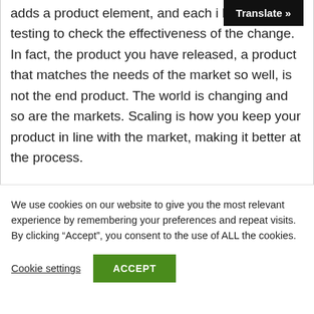adds a product element, and each is followed by user testing to check the effectiveness of the change. In fact, the product you have released, a product that matches the needs of the market so well, is not the end product. The world is changing and so are the markets. Scaling is how you keep your product in line with the market, making it better at the process.
We use cookies on our website to give you the most relevant experience by remembering your preferences and repeat visits. By clicking “Accept”, you consent to the use of ALL the cookies.